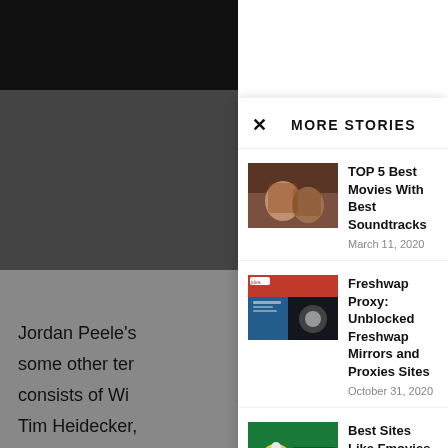[Figure (photo): Dark close-up photo in background, left side]
Jordan Peele's
some other ter
consists of Wi
Tim Heidecker,
terrorized via a
Pet Sem
MORE STORIES
[Figure (photo): Two people close together, movie still]
TOP 5 Best Movies With Best Soundtracks
March 11, 2020
[Figure (screenshot): Screenshot of Freshwap website with movie imagery]
Freshwap Proxy: Unblocked Freshwap Mirrors and Proxies Sites
October 31, 2020
[Figure (photo): FMovies logo with popcorn and 3D glasses]
Best Sites Like Fmovies in 2020
March 20, 2020